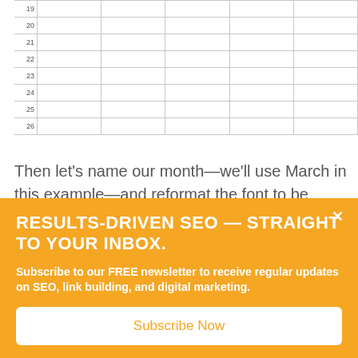[Figure (table-as-image): Partial spreadsheet showing rows numbered 19 through 26, with multiple empty columns separated by gridlines]
Then let's name our month—we'll use March in this example—and reformat the font to be larger and centered.
RESULTS-DRIVEN SEO — STRAIGHT TO YOUR INBOX.
Subscribe to our FREE newsletter to receive regular updates on SEO, link building, and digital marketing.
Subscribe Now